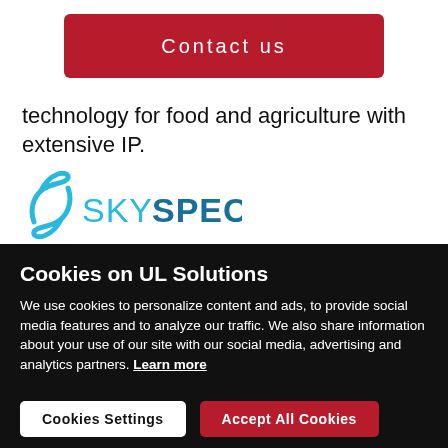[Figure (other): Red 'Contact us' button]
technology for food and agriculture with extensive IP.
[Figure (logo): SkySpecs logo with blue swoosh S icon and SKYSPECS text]
Cookies on UL Solutions
We use cookies to personalize content and ads, to provide social media features and to analyze our traffic. We also share information about your use of our site with our social media, advertising and analytics partners. Learn more
[Figure (other): Cookies Settings button (white) and Accept All Cookies button (red)]